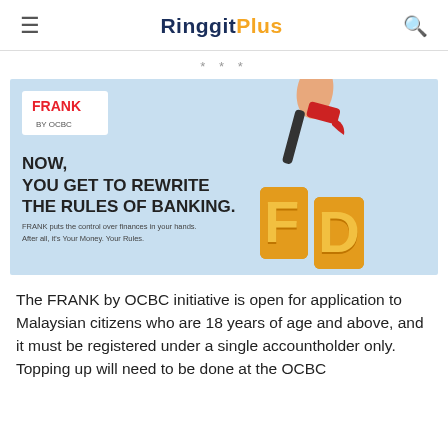RinggitPlus
* * *
[Figure (illustration): FRANK by OCBC advertisement banner. Light blue background. Left side shows FRANK BY OCBC logo in white box, large bold text 'NOW, YOU GET TO REWRITE THE RULES OF BANKING.' and smaller text 'FRANK puts the control over finances in your hands. After all, it's Your Money. Your Rules.' Right side shows a hand holding a red hammer over large golden 3D letters 'FD'.]
The FRANK by OCBC initiative is open for application to Malaysian citizens who are 18 years of age and above, and it must be registered under a single accountholder only. Topping up will need to be done at the OCBC